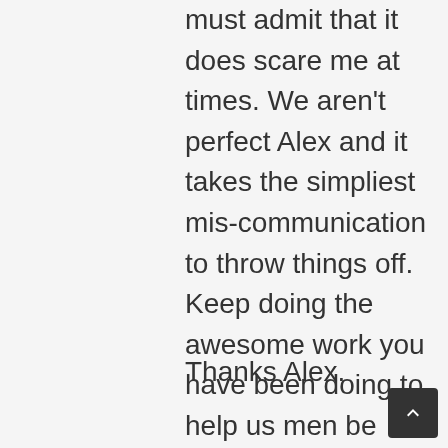must admit that it does scare me at times. We aren't perfect Alex and it takes the simpliest mis-communication to throw things off. Keep doing the awesome work you have been doing to help us men be better at our relationships and better lovers.
Thanks Alex.